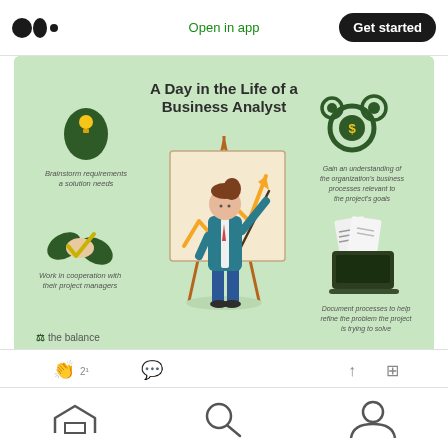Open in app | Get started
[Figure (infographic): Infographic titled 'A Day in the Life of a Business Analyst' on green background. Shows four activities: Brainstorm requirements a solution needs (top left, head with lightbulb icon), Gain an understanding of the organization's business processes relevant to the project's goals (top right, gears with dollar sign icon), Work in cooperation with their project managers (bottom left, handshake with checkmark icon), Document processes to help refine the problem the project is trying to solve (bottom right, laptop with documents icon). Center shows a business analyst pointing at a presentation board with an upward trending chart. Bottom left shows 'the balance' logo.]
Home | Search | Profile